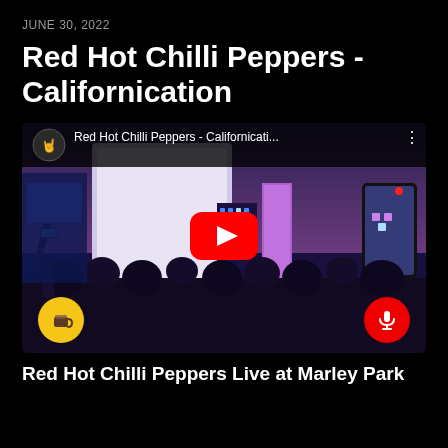JUNE 30, 2022
Red Hot Chilli Peppers - Californication
[Figure (screenshot): YouTube video thumbnail showing a live concert scene of Red Hot Chilli Peppers performing, with a YouTube play button overlay. Top bar shows channel avatar, title 'Red Hot Chilli Peppers - Californicati...' and a menu dots icon. Bottom-left shows a yellow coffee cup button and bottom-right shows a red microphone button.]
Red Hot Chilli Peppers Live at Marley Park